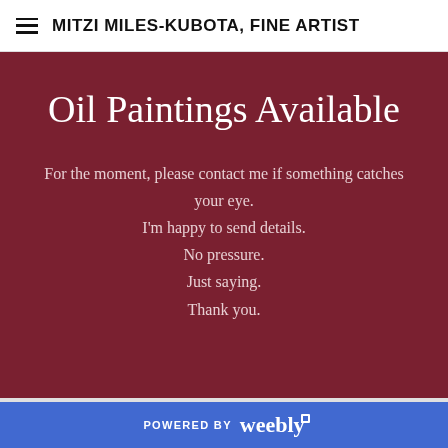MITZI MILES-KUBOTA, FINE ARTIST
Oil Paintings Available
For the moment, please contact me if something catches your eye.
I'm happy to send details.
No pressure.
Just saying.
Thank you.
POWERED BY weebly